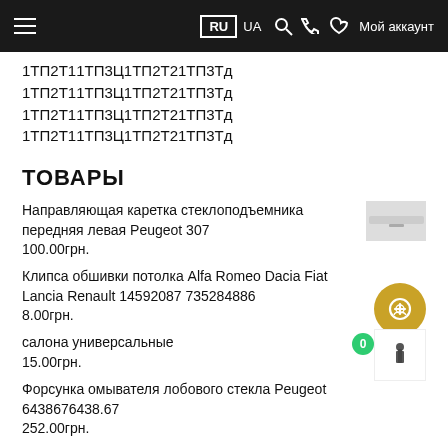RU  UA   Мой аккаунт
1ТП2Т11ТП3Ц1ТП2Т21ТП3Тд
1ТП2Т11ТП3Ц1ТП2Т21ТП3Тд
1ТП2Т11ТП3Ц1ТП2Т21ТП3Тд
1ТП2Т11ТП3Ц1ТП2Т21ТП3Тд
ТОВАРЫ
Направляющая каретка стеклоподъемника передняя левая Peugeot 307
100.00грн.
Клипса обшивки потолка Alfa Romeo Dacia Fiat Lancia Renault 14592087 735284886
8.00грн.
салона универсальные
15.00грн.
Форсунка омывателя лобового стекла Peugeot 6438676438.67
252.00грн.